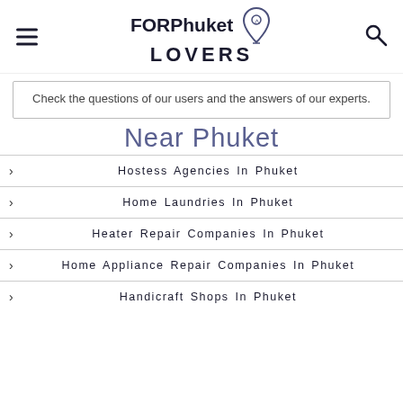FORPhuket LOVERS
Check the questions of our users and the answers of our experts.
Near Phuket
Hostess Agencies In Phuket
Home Laundries In Phuket
Heater Repair Companies In Phuket
Home Appliance Repair Companies In Phuket
Handicraft Shops In Phuket